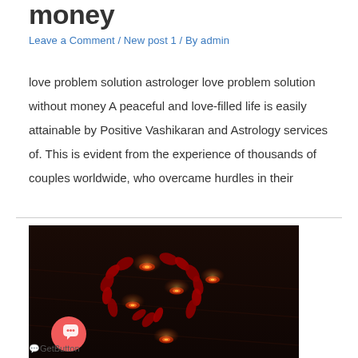money
Leave a Comment / New post 1 / By admin
love problem solution astrologer love problem solution without money A peaceful and love-filled life is easily attainable by Positive Vashikaran and Astrology services of. This is evident from the experience of thousands of couples worldwide, who overcame hurdles in their
[Figure (photo): Dark background photo with candles and rose petals arranged in a heart shape on a wooden surface]
GetButton